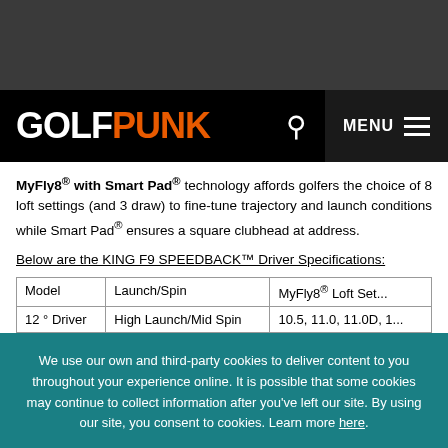GOLFPUNK
MyFly8® with Smart Pad® technology affords golfers the choice of 8 loft settings (and 3 draw) to fine-tune trajectory and launch conditions while Smart Pad® ensures a square clubhead at address.
Below are the KING F9 SPEEDBACK™ Driver Specifications:
| Model | Launch/Spin | MyFly8® Loft Set... |
| --- | --- | --- |
| 12 ° Driver | High Launch/Mid Spin | 10.5, 11.0, 11.0D, 1... |
We use our own and third-party cookies to deliver content to you throughout your experience online. It is possible that some cookies may continue to collect information after you've left our site. By using our site, you consent to cookies. Learn more here.
OK, GOT IT!